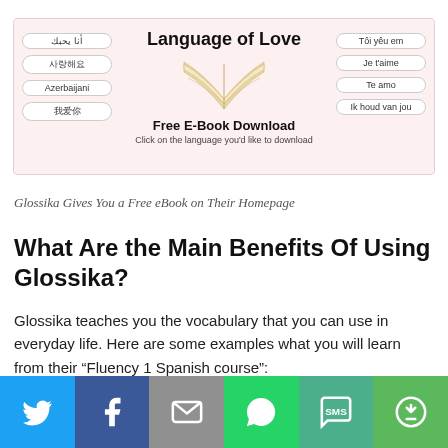[Figure (illustration): Glossika 'Language of Love' free e-book download banner with pill-shaped language labels (Arabic, Korean, Azerbaijani, Chinese on the left; Vietnamese, French, Spanish, Dutch on the right) and an open book graphic in the center.]
Glossika Gives You a Free eBook on Their Homepage
What Are the Main Benefits Of Using Glossika?
Glossika teaches you the vocabulary that you can use in everyday life. Here are some examples what you will learn from their “Fluency 1 Spanish course”:
[Figure (infographic): Social sharing bar with Twitter (blue), Facebook (dark blue), Email (grey), WhatsApp (green), SMS (teal-green), and More (green) buttons]